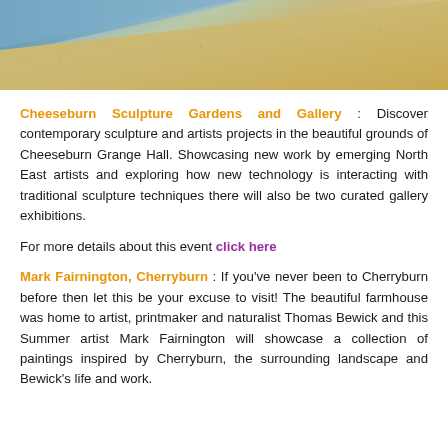[Figure (photo): A photograph showing a pebbly shoreline with calm water on the left and gravel/stones on the right, in natural daylight.]
Cheeseburn Sculpture Gardens and Gallery : Discover contemporary sculpture and artists projects in the beautiful grounds of Cheeseburn Grange Hall. Showcasing new work by emerging North East artists and exploring how new technology is interacting with traditional sculpture techniques there will also be two curated gallery exhibitions.
For more details about this event click here
Mark Fairnington, Cherryburn : If you've never been to Cherryburn before then let this be your excuse to visit! The beautiful farmhouse was home to artist, printmaker and naturalist Thomas Bewick and this Summer artist Mark Fairnington will showcase a collection of paintings inspired by Cherryburn, the surrounding landscape and Bewick's life and work.